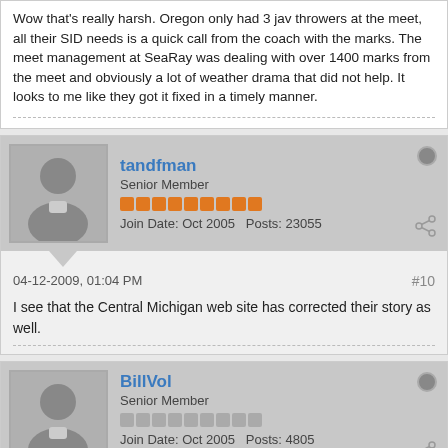Wow that's really harsh. Oregon only had 3 jav throwers at the meet, all their SID needs is a quick call from the coach with the marks. The meet management at SeaRay was dealing with over 1400 marks from the meet and obviously a lot of weather drama that did not help. It looks to me like they got it fixed in a timely manner.
tandfman
Senior Member
Join Date: Oct 2005  Posts: 23055
04-12-2009, 01:04 PM
#10
I see that the Central Michigan web site has corrected their story as well.
BillVol
Senior Member
Join Date: Oct 2005  Posts: 4805
Location: Chattanooga